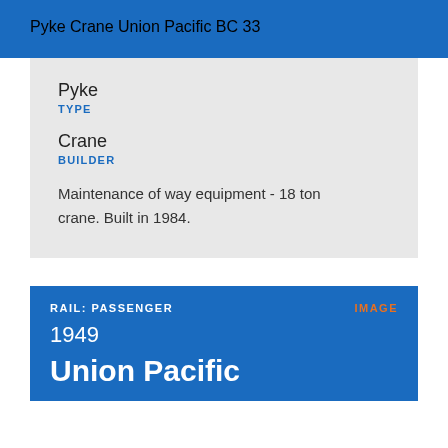Pyke Crane Union Pacific BC 33
Pyke
TYPE
Crane
BUILDER
Maintenance of way equipment - 18 ton crane. Built in 1984.
RAIL: PASSENGER
IMAGE
1949
Union Pacific